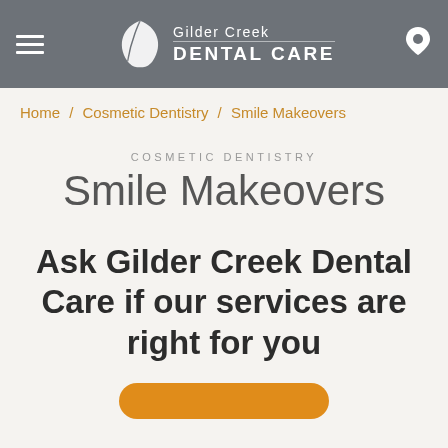Gilder Creek Dental Care
Home / Cosmetic Dentistry / Smile Makeovers
COSMETIC DENTISTRY
Smile Makeovers
Ask Gilder Creek Dental Care if our services are right for you